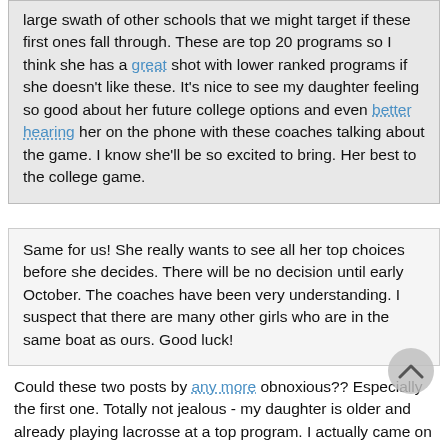large swath of other schools that we might target if these first ones fall through. These are top 20 programs so I think she has a great shot with lower ranked programs if she doesn't like these. It's nice to see my daughter feeling so good about her future college options and even better hearing her on the phone with these coaches talking about the game. I know she'll be so excited to bring. Her best to the college game.
Same for us! She really wants to see all her top choices before she decides. There will be no decision until early October. The coaches have been very understanding. I suspect that there are many other girls who are in the same boat as ours. Good luck!
Could these two posts by any more obnoxious?? Especially the first one. Totally not jealous - my daughter is older and already playing lacrosse at a top program. I actually came on here to see if there was any new commitment news - specific commitment news - not bragging about where someone was in the process. These parents have some serious self reflection to do. They will have a big wake up